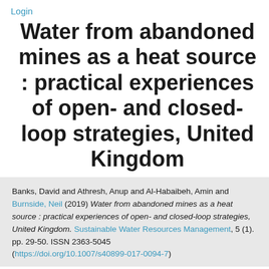Login
Water from abandoned mines as a heat source : practical experiences of open- and closed-loop strategies, United Kingdom
Banks, David and Athresh, Anup and Al-Habaibeh, Amin and Burnside, Neil (2019) Water from abandoned mines as a heat source : practical experiences of open- and closed-loop strategies, United Kingdom. Sustainable Water Resources Management, 5 (1). pp. 29-50. ISSN 2363-5045 (https://doi.org/10.1007/s40899-017-0094-7)